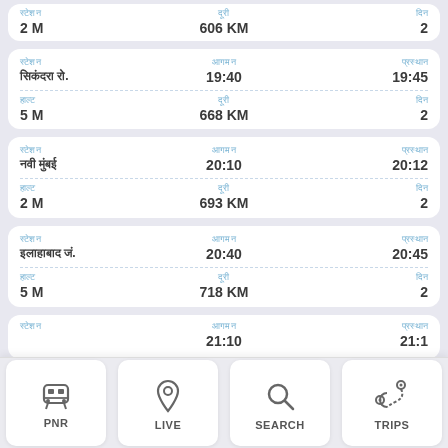| स्टेशन | समय | दिन |
| --- | --- | --- |
| 2 M | 606 KM | 2 |
| स्टेशन | समय | प्रस्थान |
| --- | --- | --- |
| सिकंदरा रो. | 19:40 | 19:45 |
| 5 M | 668 KM | 2 |
| स्टेशन | समय | प्रस्थान |
| --- | --- | --- |
| नवी मुंबई | 20:10 | 20:12 |
| 2 M | 693 KM | 2 |
| स्टेशन | समय | प्रस्थान |
| --- | --- | --- |
| इलाहाबाद जं. | 20:40 | 20:45 |
| 5 M | 718 KM | 2 |
| स्टेशन | समय | प्रस्थान |
| --- | --- | --- |
|  | 21:10 | 21:1... |
| 2 M | 743 KM |  |
PNR
LIVE
SEARCH
TRIPS